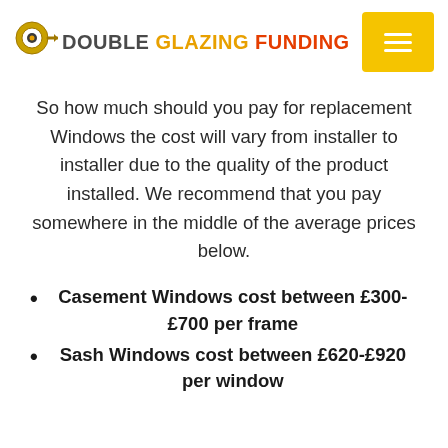DOUBLE GLAZING FUNDING
So how much should you pay for replacement Windows the cost will vary from installer to installer due to the quality of the product installed. We recommend that you pay somewhere in the middle of the average prices below.
Casement Windows cost between £300-£700 per frame
Sash Windows cost between £620-£920 per window